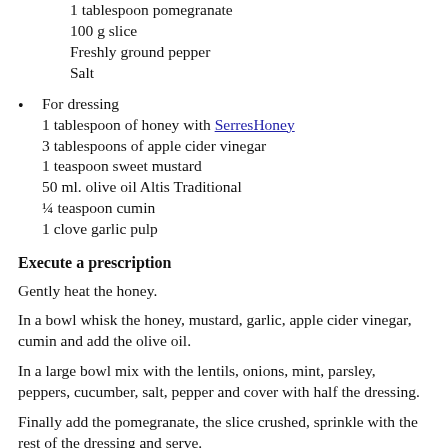1 tablespoon pomegranate
100 g slice
Freshly ground pepper
Salt
For dressing
1 tablespoon of honey with SerresHoney
3 tablespoons of apple cider vinegar
1 teaspoon sweet mustard
50 ml. olive oil Altis Traditional
¼ teaspoon cumin
1 clove garlic pulp
Execute a prescription
Gently heat the honey.
In a bowl whisk the honey, mustard, garlic, apple cider vinegar, cumin and add the olive oil.
In a large bowl mix with the lentils, onions, mint, parsley, peppers, cucumber, salt, pepper and cover with half the dressing.
Finally add the pomegranate, the slice crushed, sprinkle with the rest of the dressing and serve.